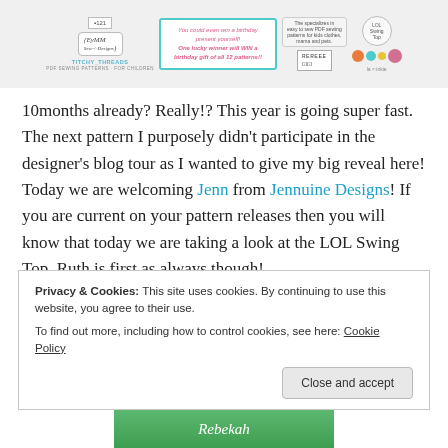[Figure (illustration): Banner collage with sewing pattern designer logos including EyMM, Titchy Threads, a teal bordered promotional box, pattern thumbnails, and colorful circle designs]
10months already? Really!? This year is going super fast. The next pattern I purposely didn't participate in the designer's blog tour as I wanted to give my big reveal here! Today we are welcoming Jenn from Jennuine Designs! If you are current on your pattern releases then you will know that today we are taking a look at the LOL Swing Top. Ruth is first as always though!
Privacy & Cookies: This site uses cookies. By continuing to use this website, you agree to their use.
To find out more, including how to control cookies, see here: Cookie Policy
Close and accept
[Figure (photo): Partial photo at bottom showing Rebekah text overlay on green background]